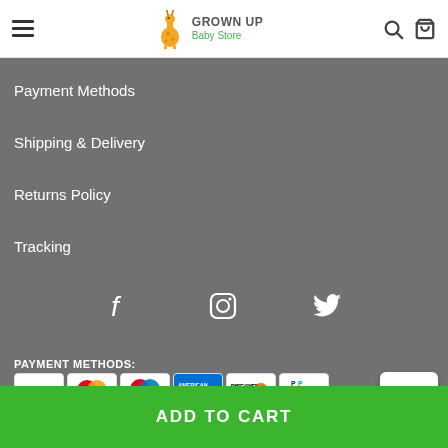GROWN UP Baby Store
Payment Methods
Shipping & Delivery
Returns Policy
Tracking
[Figure (infographic): Social media icons: Facebook, Instagram, Twitter]
PAYMENT METHODS:
[Figure (infographic): Payment method logos: Visa, Mastercard, Maestro, American Express, Discover, PayPal]
ADD TO CART